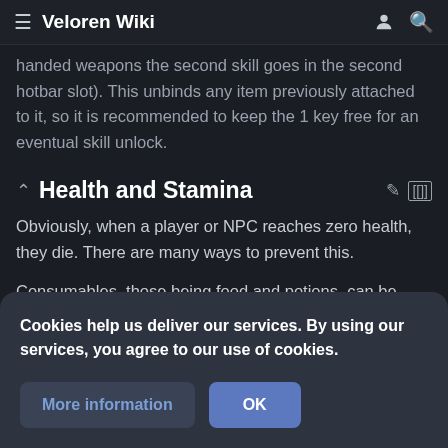Veloren Wiki
handed weapons the second skill goes in the second hotbar slot). This unbinds any item previously attached to it, so it is recommended to keep the 1 key free for an eventual skill unlock.
Health and Stamina
Obviously, when a player or NPC reaches zero health, they die. There are many ways to prevent this.
Consumables, those being food and potions, can be crafted or gathered. Food (and beverages) heal the player over time. You can consume a second item during the
Cookies help us deliver our services. By using our services, you agree to our use of cookies.